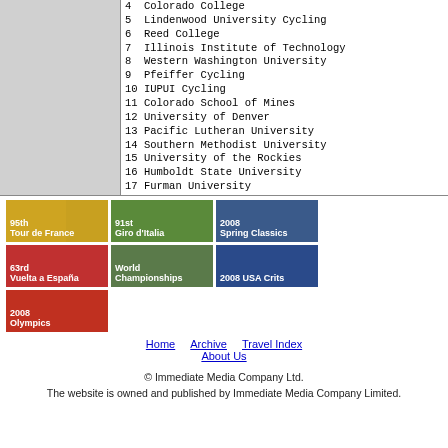4 Colorado College
5 Lindenwood University Cycling
6 Reed College
7 Illinois Institute of Technology
8 Western Washington University
9 Pfeiffer Cycling
10 IUPUI Cycling
11 Colorado School of Mines
12 University of Denver
13 Pacific Lutheran University
14 Southern Methodist University
15 University of the Rockies
16 Humboldt State University
17 Furman University
18 University of Northern Colorado
19 Univ of Colo - Colo Springs
20 US Air Force Academy
21 Georgetown University
[Figure (photo): 95th Tour de France banner]
[Figure (photo): 91st Giro d'Italia banner]
[Figure (photo): 2008 Spring Classics banner]
[Figure (photo): 63rd Vuelta a Espana banner]
[Figure (photo): World Championships banner]
[Figure (photo): 2008 USA Crits banner]
[Figure (photo): 2008 Olympics banner]
Home   Archive   Travel Index   About Us
© Immediate Media Company Ltd. The website is owned and published by Immediate Media Company Limited.